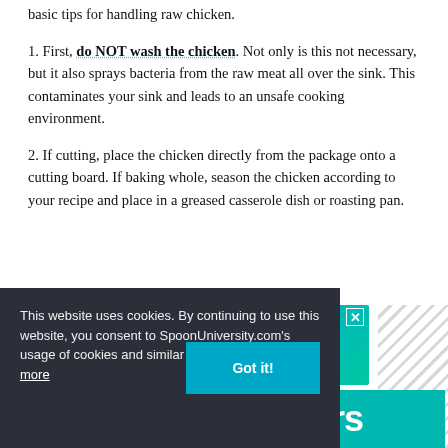basic tips for handling raw chicken.
1. First, do NOT wash the chicken. Not only is this not necessary, but it also sprays bacteria from the raw meat all over the sink. This contaminates your sink and leads to an unsafe cooking environment.
2. If cutting, place the chicken directly from the package onto a cutting board. If baking whole, season the chicken according to your recipe and place in a greased casserole dish or roasting pan.
[Figure (screenshot): Advertisement banner: green/teal gradient background with text 'GO AHEAD, play WITH YOUR FOOD' with sparkle decorations and an X close button]
[Figure (screenshot): Teal box showing partial text 'ers' (part of site branding) with diagonal stripe pattern on right]
This website uses cookies. By continuing to use this website, you consent to SpoonUniversity.com's usage of cookies and similar technologies  Learn more